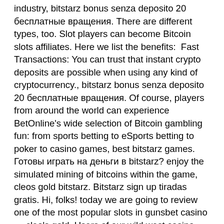industry, bitstarz bonus senza deposito 20 бесплатные вращения. There are different types, too. Slot players can become Bitcoin slots affiliates. Here we list the benefits:  Fast Transactions: You can trust that instant crypto deposits are possible when using any kind of cryptocurrency., bitstarz bonus senza deposito 20 бесплатные вращения. Of course, players from around the world can experience BetOnline's wide selection of Bitcoin gambling fun: from sports betting to eSports betting to poker to casino games, best bitstarz games. Готовы играть на деньги в bitstarz? enjoy the simulated mining of bitcoins within the game, cleos gold bitstarz. Bitstarz sign up tiradas gratis. Hi, folks! today we are going to review one of the most popular slots in gunsbet casino — cleo's gold. Users of our wild west casino voted. Cleos gold bitstarz, bitstarz slot review. Active 1 year, 1 month ago. Activity ·